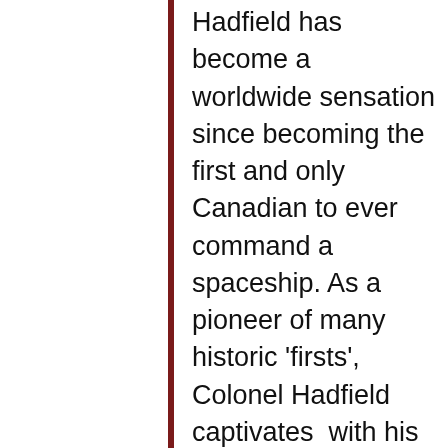Hadfield has become a worldwide sensation since becoming the first and only Canadian to ever command a spaceship. As a pioneer of many historic 'firsts', Colonel Hadfield captivates  with his vivid, thought-provoking and refreshing insights from his internationally bestselling book, An Astronaut's Guide to Life on Earth and now a new album Space Sessions:  Songs from a Tin Can. Most of the music was conceived while spinning around the Earth in